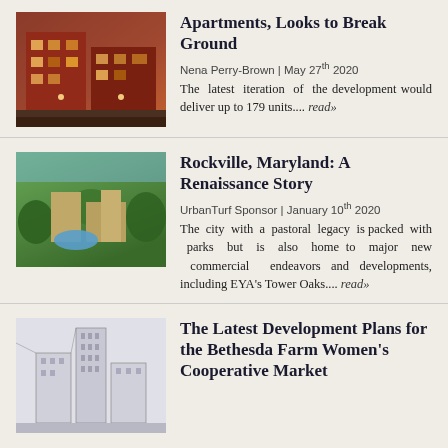[Figure (photo): Exterior photo of a brick apartment building at night with warm lighting]
Apartments, Looks to Break Ground
Nena Perry-Brown | May 27th 2020
The latest iteration of the development would deliver up to 179 units.... read»
[Figure (photo): Aerial rendering of a mixed-use development with green spaces and a pool]
Rockville, Maryland: A Renaissance Story
UrbanTurf Sponsor | January 10th 2020
The city with a pastoral legacy is packed with parks but is also home to major new commercial endeavors and developments, including EYA's Tower Oaks.... read»
[Figure (illustration): Architectural rendering of a modern high-rise development]
The Latest Development Plans for the Bethesda Farm Women's Cooperative Market